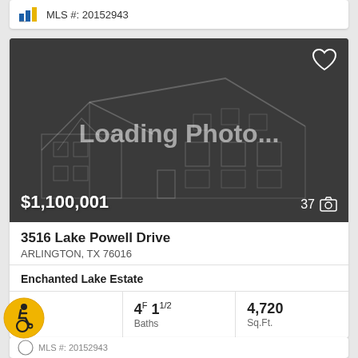MLS #: 20152943
[Figure (photo): Loading Photo placeholder showing outline of a two-story house on dark grey background with 'Loading Photo...' text, price $1,100,001 bottom left, photo count 37 bottom right]
3516 Lake Powell Drive
ARLINGTON, TX 76016
Enchanted Lake Estate
5 Beds
4F 1 1/2 Baths
4,720 Sq.Ft.